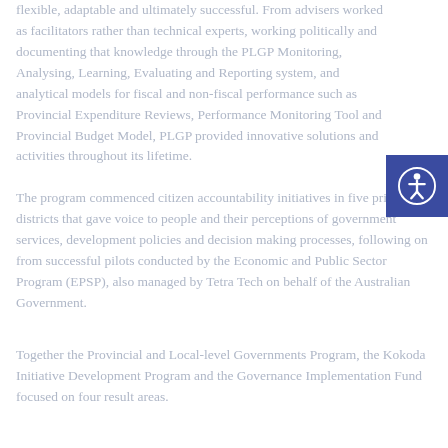flexible, adaptable and ultimately successful. From advisers worked as facilitators rather than technical experts, working politically and documenting that knowledge through the PLGP Monitoring, Analysing, Learning, Evaluating and Reporting system, and analytical models for fiscal and non-fiscal performance such as Provincial Expenditure Reviews, Performance Monitoring Tool and Provincial Budget Model, PLGP provided innovative solutions and activities throughout its lifetime.
The program commenced citizen accountability initiatives in five priority districts that gave voice to people and their perceptions of government services, development policies and decision making processes, following on from successful pilots conducted by the Economic and Public Sector Program (EPSP), also managed by Tetra Tech on behalf of the Australian Government.
Together the Provincial and Local-level Governments Program, the Kokoda Initiative Development Program and the Governance Implementation Fund focused on four result areas.